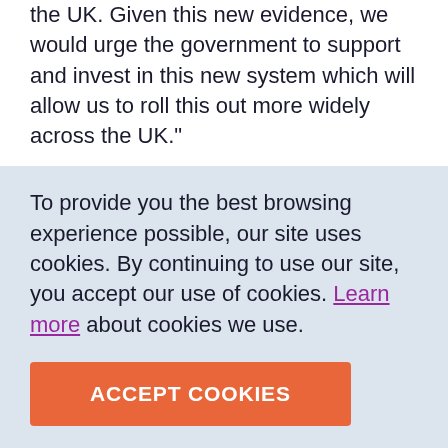the UK. Given this new evidence, we would urge the government to support and invest in this new system which will allow us to roll this out more widely across the UK."
The current method for antenatal risk assessment remains the same as it was in the 1970s and involves a checklist that asks for the presence of certain risk factors. This checklist does not weigh or assess the interaction
To provide you the best browsing experience possible, our site uses cookies. By continuing to use our site, you accept our use of cookies. Learn more about cookies we use.
ACCEPT COOKIES